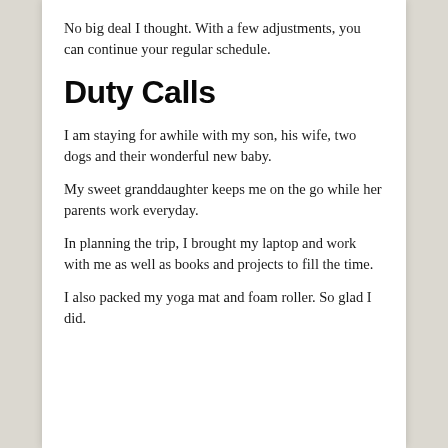No big deal I thought. With a few adjustments, you can continue your regular schedule.
Duty Calls
I am staying for awhile with my son, his wife, two dogs and their wonderful new baby.
My sweet granddaughter keeps me on the go while her parents work everyday.
In planning the trip, I brought my laptop and work with me as well as books and projects to fill the time.
I also packed my yoga mat and foam roller.  So glad I did.